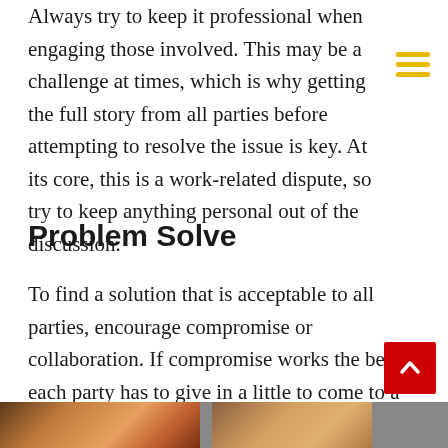Always try to keep it professional when engaging those involved. This may be a challenge at times, which is why getting the full story from all parties before attempting to resolve the issue is key. At its core, this is a work-related dispute, so try to keep anything personal out of the discussion.
Problem Solve
To find a solution that is acceptable to all parties, encourage compromise or collaboration. If compromise works the best, each party has to give in a little to come to a suitable resolution for all involved; essentially a negotiation. In collaboration, parties must come to a separate, alternative solution. Different disputes call for different solutions.
[Figure (photo): Partial image strip at bottom of page showing two cropped photos]